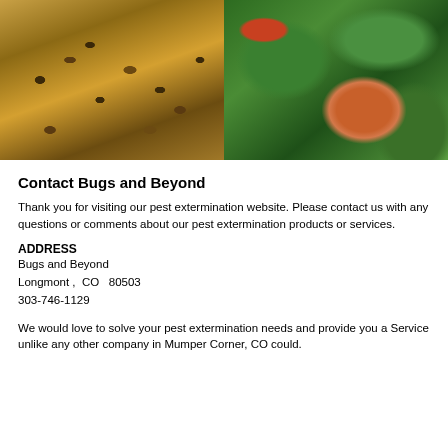[Figure (photo): Two photos side by side: left photo shows a cluster of cockroaches/termites on a wooden surface; right photo shows a Colorado potato beetle (orange with black spots) on green leaves]
Contact Bugs and Beyond
Thank you for visiting our pest extermination website. Please contact us with any questions or comments about our pest extermination products or services.
ADDRESS
Bugs and Beyond
Longmont ,  CO   80503
303-746-1129
We would love to solve your pest extermination needs and provide you a Service unlike any other company in Mumper Corner, CO could.